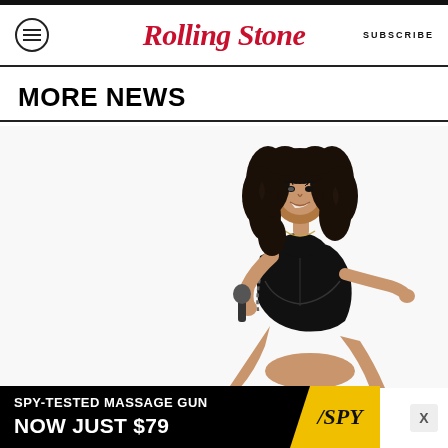Rolling Stone | SUBSCRIBE
MORE NEWS
[Figure (photo): A female performer in a black leather outfit holding a microphone and posing on stage against a white background]
[Figure (infographic): Advertisement banner: SPY-TESTED MASSAGE GUN NOW JUST $79 with SPY logo on yellow background]